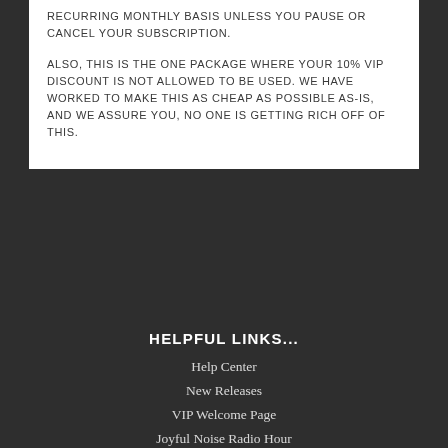RECURRING MONTHLY BASIS UNLESS YOU PAUSE OR CANCEL YOUR SUBSCRIPTION.
ALSO, THIS IS THE ONE PACKAGE WHERE YOUR 10% VIP DISCOUNT IS NOT ALLOWED TO BE USED. WE HAVE WORKED TO MAKE THIS AS CHEAP AS POSSIBLE AS-IS, AND WE ASSURE YOU, NO ONE IS GETTING RICH OFF OF THIS.
HELPFUL LINKS...
Help Center
New Releases
VIP Welcome Page
Joyful Noise Radio Hour
Privacy Policy
Terms of Service
Refund Policy